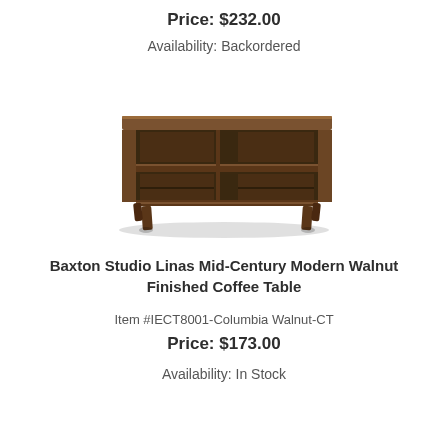Price: $232.00
Availability: Backordered
[Figure (photo): Mid-century modern walnut finished coffee table with open shelving and angled legs]
Baxton Studio Linas Mid-Century Modern Walnut Finished Coffee Table
Item #IECT8001-Columbia Walnut-CT
Price: $173.00
Availability: In Stock